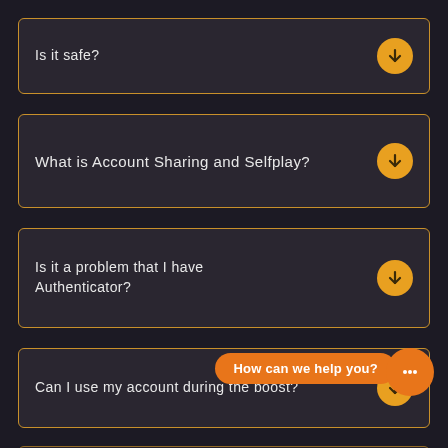Is it safe?
What is Account Sharing and Selfplay?
Is it a problem that I have Authenticator?
Can I use my account during the boost?
How can we help you?